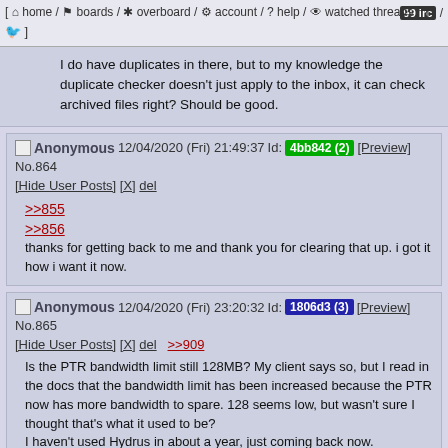[ home / boards / overboard / account / help / watched threads ] [ irc / ]
I do have duplicates in there, but to my knowledge the duplicate checker doesn't just apply to the inbox, it can check archived files right? Should be good.
Anonymous 12/04/2020 (Fri) 21:49:37 Id: 4bb842 (2) [Preview] No.864 [Hide User Posts] [X] del
>>855
>>856
thanks for getting back to me and thank you for clearing that up. i got it how i want it now.
Anonymous 12/04/2020 (Fri) 23:20:32 Id: 1806d3 (3) [Preview] No.865 [Hide User Posts] [X] del >>909
Is the PTR bandwidth limit still 128MB? My client says so, but I read in the docs that the bandwidth limit has been increased because the PTR now has more bandwidth to spare. 128 seems low, but wasn't sure I thought that's what it used to be?
I haven't used Hydrus in about a year, just coming back now.

Also one other question:

/help/getting_started_files.html states this:
>If you want to do private sexy slideshows of your shy wife, that's great, but think twice before you upload files or tags anywhere, particularly as you learn. It is impossible to contain leaks of private